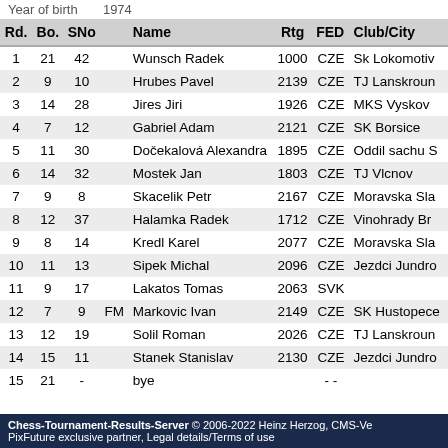Year of birth   1974
| Rd. | Bo. | SNo |  | Name | Rtg | FED | Club/City |
| --- | --- | --- | --- | --- | --- | --- | --- |
| 1 | 21 | 42 |  | Wunsch Radek | 1000 | CZE | Sk Lokomotiv |
| 2 | 9 | 10 |  | Hrubes Pavel | 2139 | CZE | TJ Lanskroun |
| 3 | 14 | 28 |  | Jires Jiri | 1926 | CZE | MKS Vyskov |
| 4 | 7 | 12 |  | Gabriel Adam | 2121 | CZE | SK Borsice |
| 5 | 11 | 30 |  | Dočekalová Alexandra | 1895 | CZE | Oddil sachu S |
| 6 | 14 | 32 |  | Mostek Jan | 1803 | CZE | TJ Vlcnov |
| 7 | 9 | 8 |  | Skacelik Petr | 2167 | CZE | Moravska Sla |
| 8 | 12 | 37 |  | Halamka Radek | 1712 | CZE | Vinohrady Br |
| 9 | 8 | 14 |  | Kredl Karel | 2077 | CZE | Moravska Sla |
| 10 | 11 | 13 |  | Sipek Michal | 2096 | CZE | Jezdci Jundro |
| 11 | 9 | 17 |  | Lakatos Tomas | 2063 | SVK |  |
| 12 | 7 | 9 | FM | Markovic Ivan | 2149 | CZE | SK Hustopece |
| 13 | 12 | 19 |  | Solil Roman | 2026 | CZE | TJ Lanskroun |
| 14 | 15 | 11 |  | Stanek Stanislav | 2130 | CZE | Jezdci Jundro |
| 15 | 21 | - |  | bye |  | - - |  |
Chess-Tournament-Results-Server © 2006-2022 Heinz Herzog, CMS-Ve PixFuture exclusive partner, Legal details/Terms of use